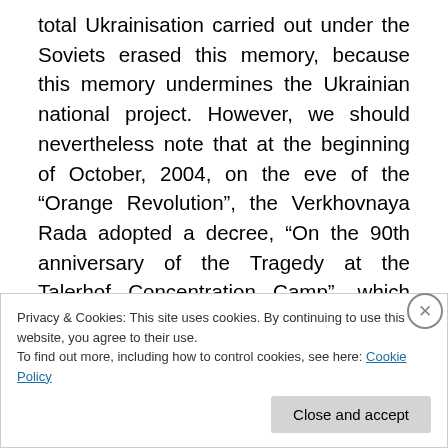total Ukrainisation carried out under the Soviets erased this memory, because this memory undermines the Ukrainian national project. However, we should nevertheless note that at the beginning of October, 2004, on the eve of the “Orange Revolution”, the Verkhovnaya Rada adopted a decree, “On the 90th anniversary of the Tragedy at the Talerhof Concentration Camp”, which quite honestly said, “The Austro-Hungarian authorities repressed those citizens of its Empire who considered themselves Rusins, who saw themselves as part of the undivided Russian people”. This decree contained...
Privacy & Cookies: This site uses cookies. By continuing to use this website, you agree to their use.
To find out more, including how to control cookies, see here: Cookie Policy
Close and accept